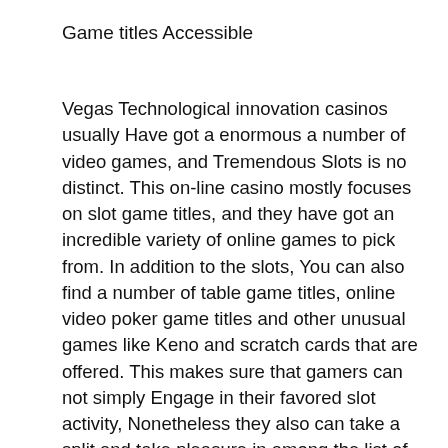Game titles Accessible
Vegas Technological innovation casinos usually Have got a enormous a number of video games, and Tremendous Slots is no distinct. This on-line casino mostly focuses on slot game titles, and they have got an incredible variety of online games to pick from. In addition to the slots, You can also find a number of table game titles, online video poker game titles and other unusual games like Keno and scratch cards that are offered. This makes sure that gamers can not simply Engage in their favored slot activity, Nonetheless they also can take a split and take pleasure in among the list of many other online games on offer you.